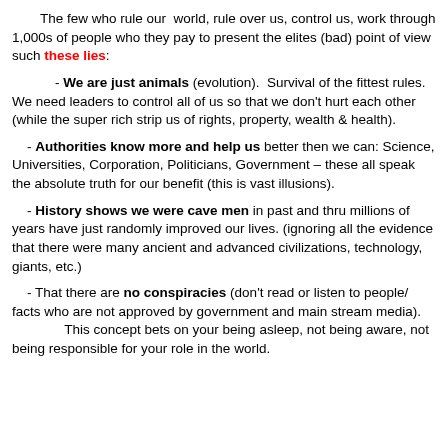The few who rule our world, rule over us, control us, work through 1,000s of people who they pay to present the elites (bad) point of view such these lies:
- We are just animals (evolution). Survival of the fittest rules. We need leaders to control all of us so that we don't hurt each other (while the super rich strip us of rights, property, wealth & health).
- Authorities know more and help us better then we can: Science, Universities, Corporation, Politicians, Government – these all speak the absolute truth for our benefit (this is vast illusions).
- History shows we were cave men in past and thru millions of years have just randomly improved our lives. (ignoring all the evidence that there were many ancient and advanced civilizations, technology, giants, etc.)
- That there are no conspiracies (don't read or listen to people/ facts who are not approved by government and main stream media). This concept bets on your being asleep, not being aware, not being responsible for your role in the world.